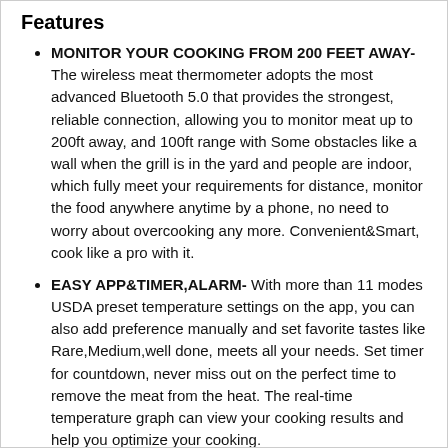Features
MONITOR YOUR COOKING FROM 200 FEET AWAY- The wireless meat thermometer adopts the most advanced Bluetooth 5.0 that provides the strongest, reliable connection, allowing you to monitor meat up to 200ft away, and 100ft range with Some obstacles like a wall when the grill is in the yard and people are indoor, which fully meet your requirements for distance, monitor the food anywhere anytime by a phone, no need to worry about overcooking any more. Convenient&Smart, cook like a pro with it.
EASY APP&TIMER,ALARM- With more than 11 modes USDA preset temperature settings on the app, you can also add preference manually and set favorite tastes like Rare,Medium,well done, meets all your needs. Set timer for countdown, never miss out on the perfect time to remove the meat from the heat. The real-time temperature graph can view your cooking results and help you optimize your cooking.